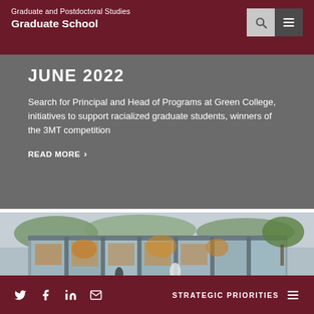Graduate and Postdoctoral Studies
Graduate School
JUNE 2022
Search for Principal and Head of Programs at Green College, initiatives to support racialized graduate students, winners of the 3MT competition
READ MORE >
[Figure (photo): Exterior view of a modern glass-walled building with columns, trees visible through the glass, people walking in front, warm autumn foliage inside]
STRATEGIC PRIORITIES